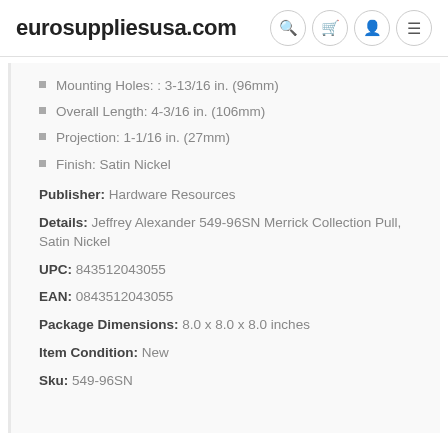eurosuppliesusa.com
Mounting Holes: : 3-13/16 in. (96mm)
Overall Length: 4-3/16 in. (106mm)
Projection: 1-1/16 in. (27mm)
Finish: Satin Nickel
Publisher: Hardware Resources
Details: Jeffrey Alexander 549-96SN Merrick Collection Pull, Satin Nickel
UPC: 843512043055
EAN: 0843512043055
Package Dimensions: 8.0 x 8.0 x 8.0 inches
Item Condition: New
Sku: 549-96SN